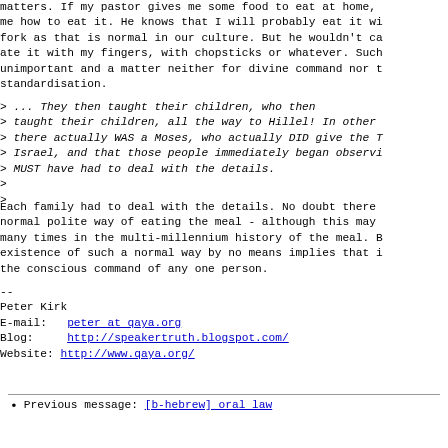matters. If my pastor gives me some food to eat at home, me how to eat it. He knows that I will probably eat it wi fork as that is normal in our culture. But he wouldn't ca ate it with my fingers, with chopsticks or whatever. Such unimportant and a matter neither for divine command nor t standardisation.
> ... They then taught their children, who then
> taught their children, all the way to Hillel! In other
> there actually WAS a Moses, who actually DID give the T
> Israel, and that those people immediately began observi
> MUST have had to deal with the details.
>
>
Each family had to deal with the details. No doubt there normal polite way of eating the meal - although this may many times in the multi-millennium history of the meal. B existence of such a normal way by no means implies that i the conscious command of any one person.
--
Peter Kirk
E-mail:   peter at qaya.org
Blog:     http://speakertruth.blogspot.com/
Website: http://www.qaya.org/
Previous message: [b-hebrew] oral law